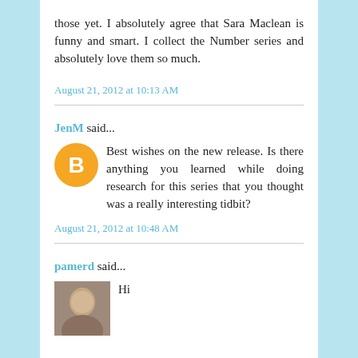those yet. I absolutely agree that Sara Maclean is funny and smart. I collect the Number series and absolutely love them so much.
August 21, 2012 at 10:13 AM
JenM said...
Best wishes on the new release. Is there anything you learned while doing research for this series that you thought was a really interesting tidbit?
August 21, 2012 at 10:48 AM
pamerd said...
Hi
Congrats on your new release. I am looking forward to starting this series as I love historical romances with fun.